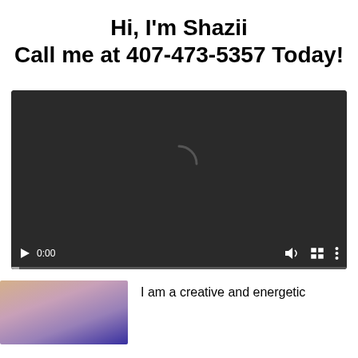Hi, I'm Shazii
Call me at 407-473-5357 Today!
[Figure (screenshot): Embedded video player showing a black/dark grey background with a loading spinner arc in the center. Controls show a play button, 0:00 timestamp, volume icon, fullscreen icon, and more options icon. Progress bar at bottom.]
[Figure (photo): Portrait photo of a woman, partially visible at bottom left of page]
I am a creative and energetic